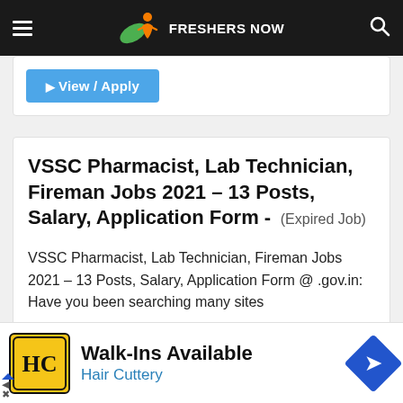FRESHERS NOW
▶ View / Apply
VSSC Pharmacist, Lab Technician, Fireman Jobs 2021 – 13 Posts, Salary, Application Form - (Expired Job)
VSSC Pharmacist, Lab Technician, Fireman Jobs 2021 – 13 Posts, Salary, Application Form @ .gov.in: Have you been searching many sites
[Figure (infographic): Advertisement banner: HC Hair Cuttery logo with Walk-Ins Available text and navigation arrow icon]